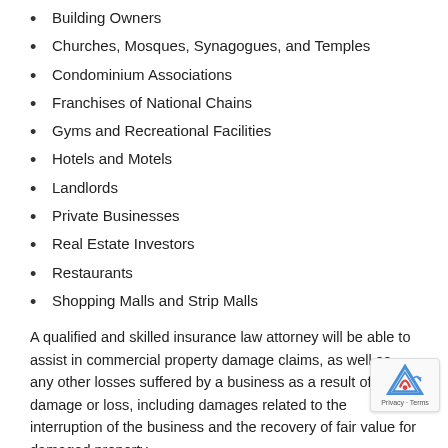Building Owners
Churches, Mosques, Synagogues, and Temples
Condominium Associations
Franchises of National Chains
Gyms and Recreational Facilities
Hotels and Motels
Landlords
Private Businesses
Real Estate Investors
Restaurants
Shopping Malls and Strip Malls
A qualified and skilled insurance law attorney will be able to assist in commercial property damage claims, as well as any other losses suffered by a business as a result of damage or loss, including damages related to the interruption of the business and the recovery of fair value for damaged property.
Causes of Commercial Property Damage in Sarasota, FL
One way in which businesses protect their financial interests is